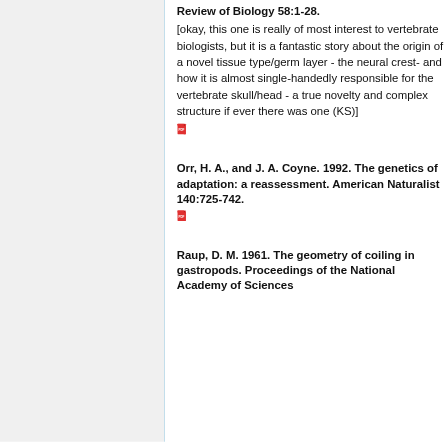Review of Biology 58:1-28.
[okay, this one is really of most interest to vertebrate biologists, but it is a fantastic story about the origin of a novel tissue type/germ layer - the neural crest- and how it is almost single-handedly responsible for the vertebrate skull/head - a true novelty and complex structure if ever there was one (KS)]
Orr, H. A., and J. A. Coyne. 1992. The genetics of adaptation: a reassessment. American Naturalist 140:725-742.
Raup, D. M. 1961. The geometry of coiling in gastropods. Proceedings of the National Academy of Sciences